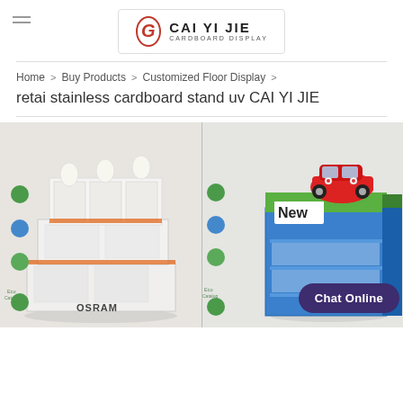CAI YI JIE CARDBOARD DISPLAY
Home > Buy Products > Customized Floor Display >
retai stainless cardboard stand uv CAI YI JIE
[Figure (photo): Two product display stands side by side. Left: A white multi-shelf cardboard floor display stand branded OSRAM. Right: A blue cardboard floor display stand with 'New' label and a red toy car on top, branded Coiles Car Products.]
Chat Online